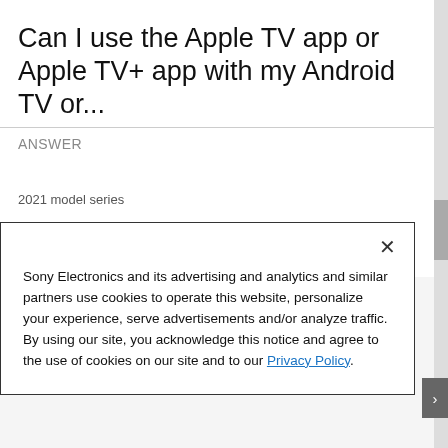Can I use the Apple TV app or Apple TV+ app with my Android TV or...
ANSWER
2021 model series
KD X80J
KD X85J
Sony Electronics and its advertising and analytics and similar partners use cookies to operate this website, personalize your experience, serve advertisements and/or analyze traffic. By using our site, you acknowledge this notice and agree to the use of cookies on our site and to our Privacy Policy.